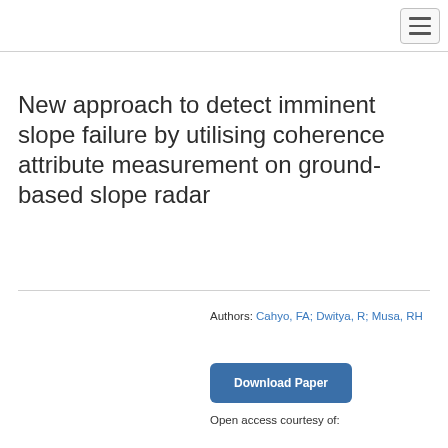New approach to detect imminent slope failure by utilising coherence attribute measurement on ground-based slope radar
Authors: Cahyo, FA; Dwitya, R; Musa, RH
Download Paper
Open access courtesy of: